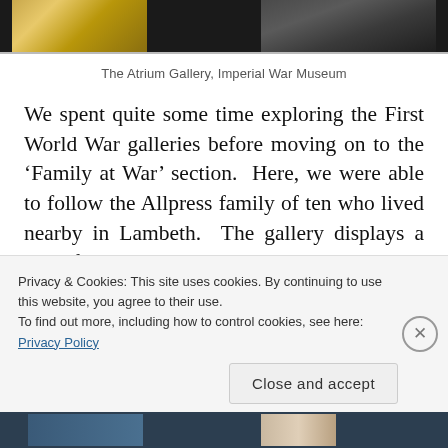[Figure (photo): Partial view of the Atrium Gallery at the Imperial War Museum, showing golden/brass objects on the left and dark military equipment on the right.]
The Atrium Gallery, Imperial War Museum
We spent quite some time exploring the First World War galleries before moving on to the ‘Family at War’ section.  Here, we were able to follow the Allpress family of ten who lived nearby in Lambeth.  The gallery displays a large family tree which detailed the roles each family member undertook during the Second World War.  We were able to look
Privacy & Cookies: This site uses cookies. By continuing to use this website, you agree to their use.
To find out more, including how to control cookies, see here: Privacy Policy
[Figure (photo): Bottom strip showing partial photographs from the museum website.]